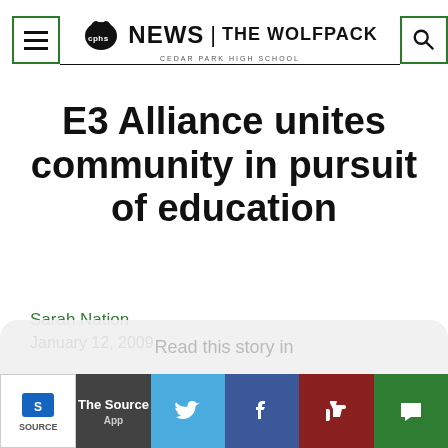cphs NEWS | THE WOLFPACK — Cedar Park High School
E3 Alliance unites community in pursuit of education
Sarah Nation
January 12, 2009
Graduates are made, not born.
Read this story in The Source App
educators, parents, and students begin to